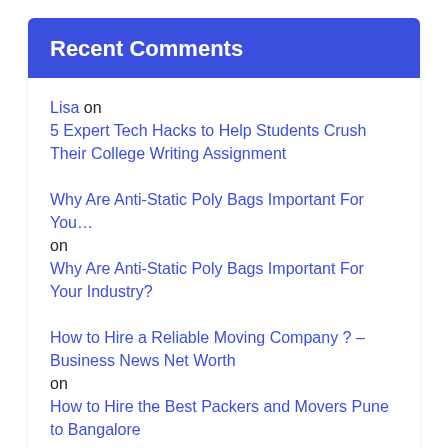Recent Comments
Lisa on 5 Expert Tech Hacks to Help Students Crush Their College Writing Assignment
Why Are Anti-Static Poly Bags Important For You… on Why Are Anti-Static Poly Bags Important For Your Industry?
How to Hire a Reliable Moving Company ? – Business News Net Worth on How to Hire the Best Packers and Movers Pune to Bangalore
Taking Zopifresh 7.5mg for Constant and Deep Sleeping – Business News Net Worth on pain o soma 500mg uses – benefits – smartfinil.net
Factors that can affect your Personal Loan interest...